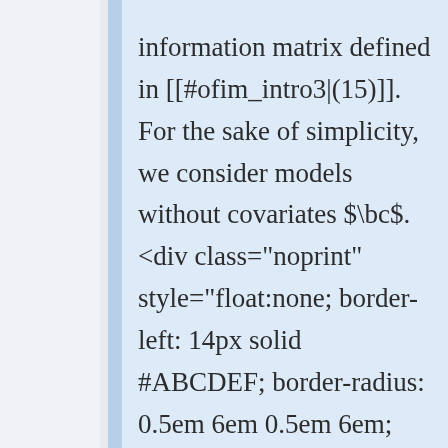information matrix defined in [[#ofim_intro3|(15)]]. For the sake of simplicity, we consider models without covariates $\bc$. <div class="noprint" style="float:none; border-left: 14px solid #ABCDEF; border-radius: 0.5em 6em 0.5em 6em; background-color:#F0F8FF;